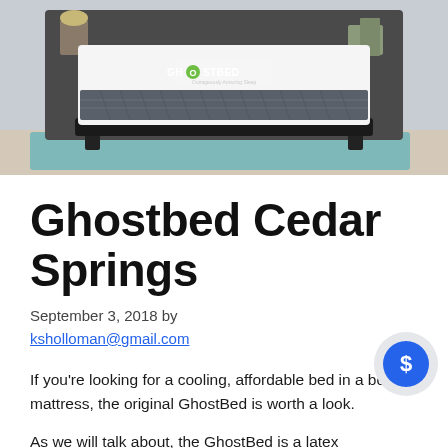[Figure (photo): GhostBed mattress on a bed frame in a bedroom setting, with the GhostBed logo visible on the mattress side panel]
Ghostbed Cedar Springs
September 3, 2018 by ksholloman@gmail.com
If you're looking for a cooling, affordable bed in a box mattress, the original GhostBed is worth a look.
As we will talk about, the GhostBed is a latex